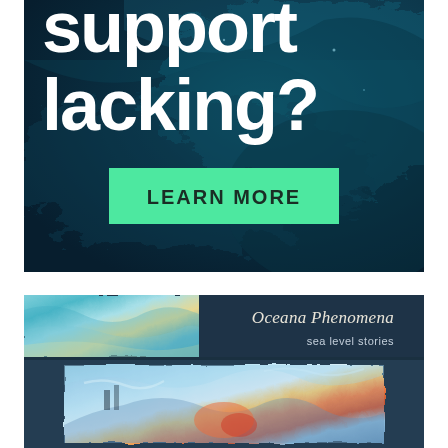[Figure (illustration): Dark teal marbled fluid ink background with overlaid large white bold text reading 'support lacking?' and a green button labeled 'LEARN MORE']
[Figure (illustration): Book or publication card for 'Oceana Phenomena - sea level stories' with a colorful ocean-painting strip header and an impressionistic ocean artwork below]